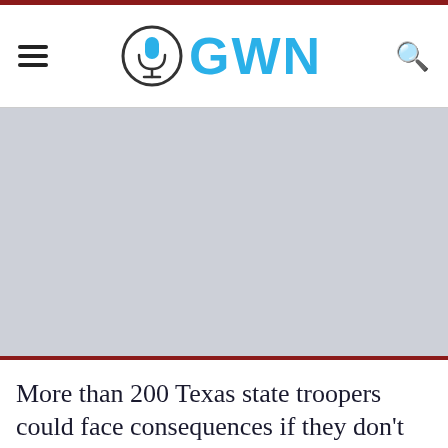GWN
[Figure (photo): Gray placeholder image area below the navigation bar]
More than 200 Texas state troopers could face consequences if they don't lose weight